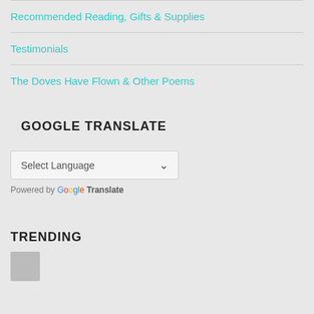Recommended Reading, Gifts & Supplies
Testimonials
The Doves Have Flown & Other Poems
GOOGLE TRANSLATE
[Figure (screenshot): Google Translate widget with 'Select Language' dropdown and 'Powered by Google Translate' text]
TRENDING